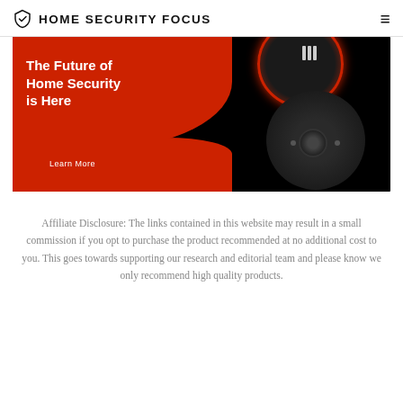HOME SECURITY FOCUS
[Figure (photo): Home security camera advertisement banner with red and black background. Text reads 'The Future of Home Security is Here' with a 'Learn More' button. Shows a security camera device.]
Affiliate Disclosure: The links contained in this website may result in a small commission if you opt to purchase the product recommended at no additional cost to you. This goes towards supporting our research and editorial team and please know we only recommend high quality products.